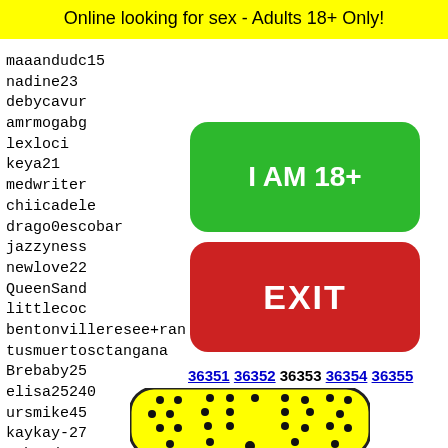Online looking for sex - Adults 18+ Only!
maaandudc15
nadine23
debycavur
amrmogabg
lexloci
keya21
medwriter
hiicadele
drago0escobar
jazzyness
newlove22
QueenSand
littlecoc
bentonvilleresee+ran
tusmuertosctangana
Brebaby25
elisa25240
ursmike45
kaykay-27
01hondacr125
keilar
moises
willie
bolopo
virgin
cupaaa
[Figure (other): Green button with text I AM 18+]
[Figure (other): Red button with text EXIT]
36351 36352 36353 36354 36355
[Figure (other): Snapchat ghost icon on yellow rounded rectangle background]